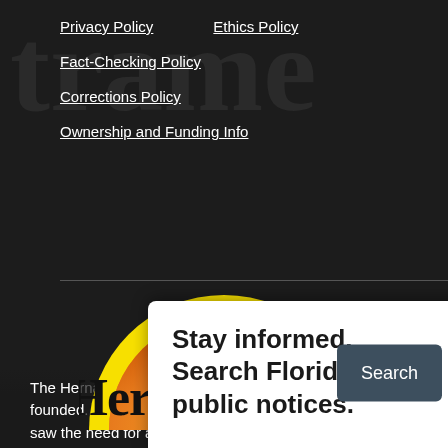Privacy Policy
Ethics Policy
Fact-Checking Policy
Corrections Policy
Ownership and Funding Info
[Figure (logo): Hernando Sun newspaper logo — a semicircle sun in yellow and orange gradient with the text 'Hernando Sun' in large serif font across the center]
Stay informed. Search Florida's public notices.
The Hernando Sun was founded ... saw the need for a newspaper when the Hernando Today